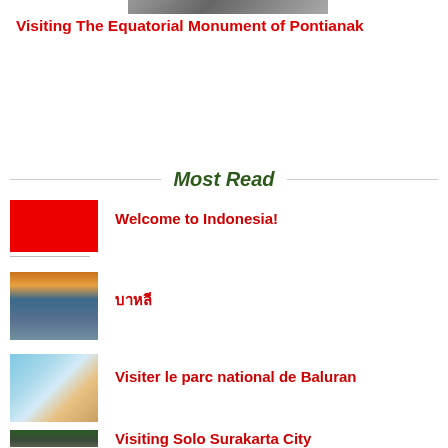[Figure (photo): Partial top image of a monument or scene, cropped at top]
Visiting The Equatorial Monument of Pontianak
Most Read
[Figure (photo): Indonesian flag - red and white]
Welcome to Indonesia!
[Figure (photo): Seascape/coastal sunset image]
บาหลี
[Figure (map): Map of Baluran national park]
Visiter le parc national de Baluran
[Figure (photo): Mountain with traditional building]
Visiting Solo Surakarta City